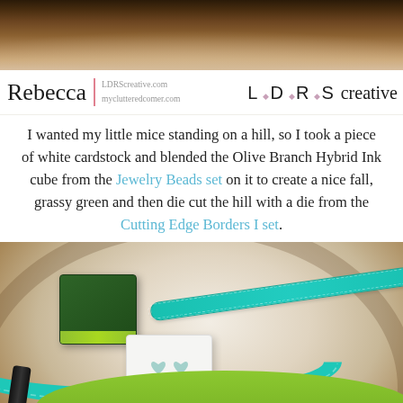[Figure (photo): Top portion showing a wood slice background with bark edges, tan and brown tones]
Rebecca  LDRScreative.com  myclutteredcomer.com  L D R · S creative
I wanted my little mice standing on a hill, so I took a piece of white cardstock and blended the Olive Branch Hybrid Ink cube from the Jewelry Beads set on it to create a nice fall, grassy green and then die cut the hill with a die from the Cutting Edge Borders I set.
[Figure (photo): Overhead photo of a wood slice with a dark green ink cube, a white LDRS Creative Jewelry Beads ink cube stamp, a teal border/strip, and a green arc shape at the bottom, all on a rustic wood background]